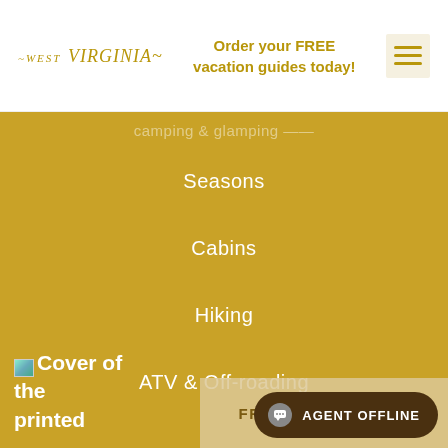West Virginia — Order your FREE vacation guides today!
Camping/Glamping (faded/partially visible)
Seasons
Cabins
Hiking
ATV & Off-roading
Cover of the printed
FREE VACATION GU...
AGENT OFFLINE